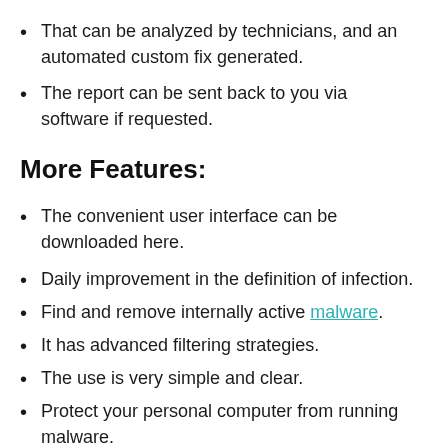That can be analyzed by technicians, and an automated custom fix generated.
The report can be sent back to you via software if requested.
More Features:
The convenient user interface can be downloaded here.
Daily improvement in the definition of infection.
Find and remove internally active malware.
It has advanced filtering strategies.
The use is very simple and clear.
Protect your personal computer from running malware.